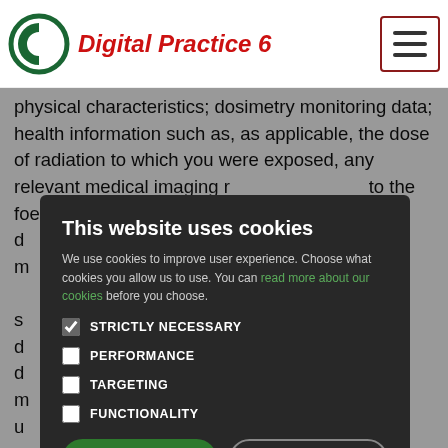Digital Practice 6
physical characteristics; dosimetry monitoring data; health information such as, as applicable, the dose of radiation to which you were exposed, any relevant medical imaging r... to the foetus, d... abilities; data m...
[Figure (screenshot): Cookie consent modal overlay on a dark background with title 'This website uses cookies', body text, checkboxes for STRICTLY NECESSARY (checked), PERFORMANCE, TARGETING, FUNCTIONALITY, and two buttons: ACCEPT ALL and DECLINE ALL]
s... ocess your d... red, provide d... marketing m... with Stericycle u... client m... ct, investigate, m... money l... – customer d... hecks, comply w... sh and exercise legal claims. We may also need to conduct credit and